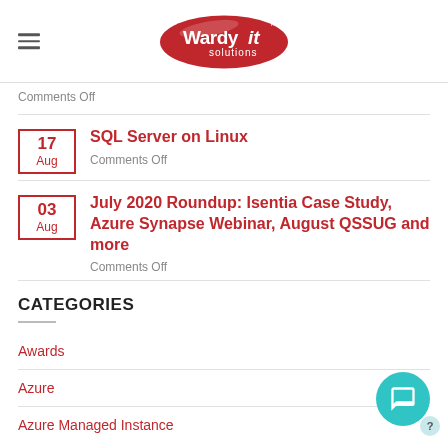Wardy IT Solutions
Comments Off
SQL Server on Linux
Comments Off
July 2020 Roundup: Isentia Case Study, Azure Synapse Webinar, August QSSUG and more
Comments Off
CATEGORIES
Awards
Azure
Azure Managed Instance